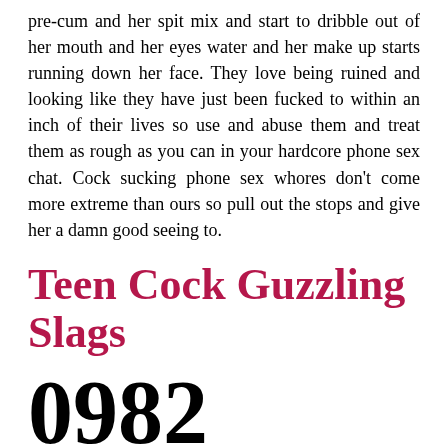pre-cum and her spit mix and start to dribble out of her mouth and her eyes water and her make up starts running down her face. They love being ruined and looking like they have just been fucked to within an inch of their lives so use and abuse them and treat them as rough as you can in your hardcore phone sex chat. Cock sucking phone sex whores don't come more extreme than ours so pull out the stops and give her a damn good seeing to.
Teen Cock Guzzling Slags
0982